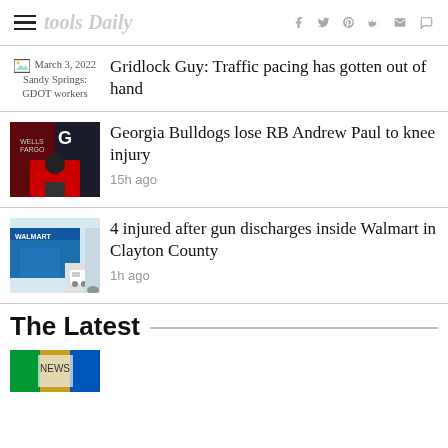Hamburger menu | Social icons: Facebook, Twitter, Pinterest, Reddit, Email, Comment
[Figure (photo): March 3, 2022 Sandy Springs: GDOT workers - placeholder image thumbnail]
Gridlock Guy: Traffic pacing has gotten out of hand
[Figure (photo): Georgia Bulldogs press conference photo - man in red shirt at podium with G logo backdrop]
Georgia Bulldogs lose RB Andrew Paul to knee injury
15h ago
[Figure (photo): Walmart store exterior with police car in parking lot]
4 injured after gun discharges inside Walmart in Clayton County
1h ago
The Latest
[Figure (photo): Colorful thumbnail - partially visible latest news item]
Partially visible latest news headline